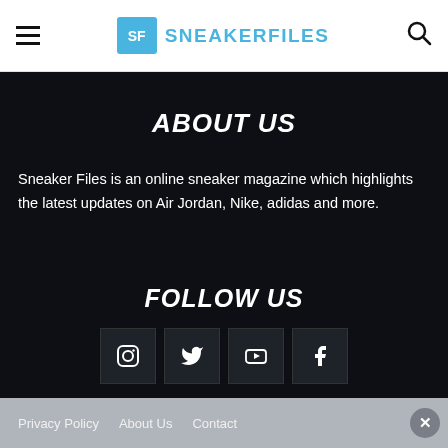SNEAKERFILES
ABOUT US
Sneaker Files is an online sneaker magazine which highlights the latest updates on Air Jordan, Nike, adidas and more.
FOLLOW US
[Figure (other): Social media icons: Instagram, Twitter, YouTube, Facebook]
© Sneaker Files
Privacy Policy   About Us   Contact